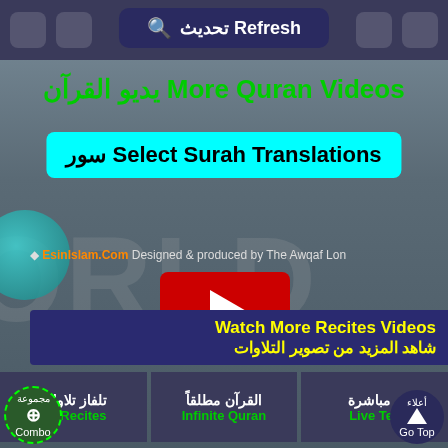تحديث Refresh
يديو القرآن More Quran Videos
سور Select Surah Translations
◆ EsinIslam.Com Designed & produced by The Awqaf Lon
[Figure (screenshot): Video player with red play button background and WORLD watermark]
Watch More Recites Videos
شاهد المزيد من تصوير التلاوات
تلفاز تلاوات
TV Recites
القرآن مطلقاً
Infinite Quran
ز مباشرة
Live Tell
مجموعة
Combo
أعلاء
Go Top